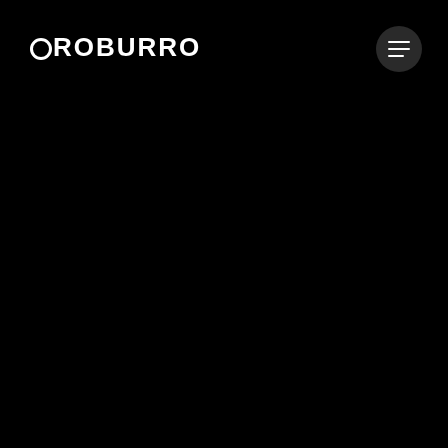[Figure (logo): OROBURRO logo in white text on black background, with a circle forming the O]
[Figure (other): Hamburger menu icon (three horizontal lines) in a dark circular button, top right corner]